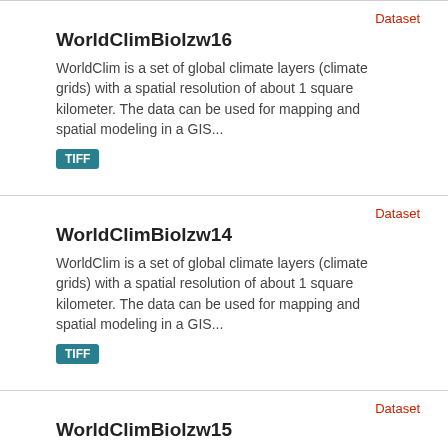Dataset
WorldClimBiolzw16
WorldClim is a set of global climate layers (climate grids) with a spatial resolution of about 1 square kilometer. The data can be used for mapping and spatial modeling in a GIS...
TIFF
Dataset
WorldClimBiolzw14
WorldClim is a set of global climate layers (climate grids) with a spatial resolution of about 1 square kilometer. The data can be used for mapping and spatial modeling in a GIS...
TIFF
Dataset
WorldClimBiolzw15
WorldClim is a set of global climate layers (climate